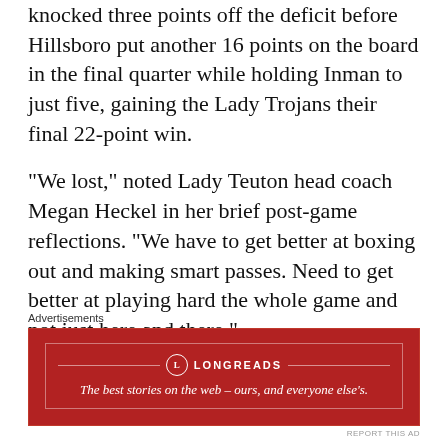knocked three points off the deficit before Hillsboro put another 16 points on the board in the final quarter while holding Inman to just five, gaining the Lady Trojans their final 22-point win.
“We lost,” noted Lady Teuton head coach Megan Heckel in her brief post-game reflections. “We have to get better at boxing out and making smart passes. Need to get better at playing hard the whole game and not just here and there.”
Advertisements
[Figure (other): Longreads advertisement banner with red background. Logo circle with 'L', brand name 'LONGREADS', tagline: 'The best stories on the web – ours, and everyone else’s.']